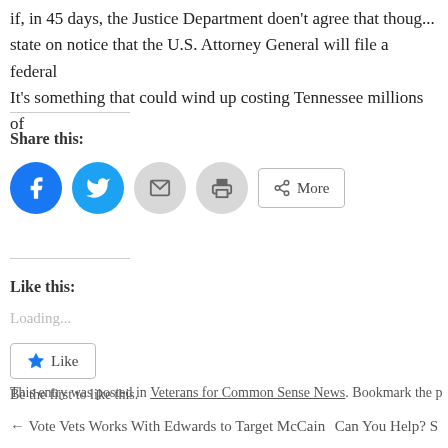if, in 45 days, the Justice Department doesn't agree that thoug... state on notice that the U.S. Attorney General will file a federal... It's something that could wind up costing Tennessee millions of...
Share this:
[Figure (other): Social share buttons: Facebook, Twitter, Email, Print, More]
Like this:
Loading...
[Figure (other): Like button widget with star icon]
Be the first to like this.
This entry was posted in Veterans for Common Sense News. Bookmark the p
← Vote Vets Works With Edwards to Target McCain     Can You Help? S